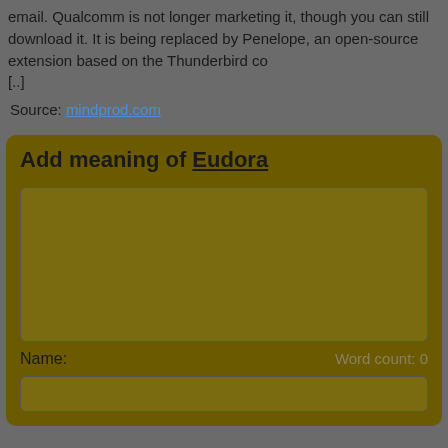email. Qualcomm is not longer marketing it, though you can still download it. It is being replaced by Penelope, an open-source extension based on the Thunderbird co [..]
Source: mindprod.com
Add meaning of Eudora
Name:
Word count: 0